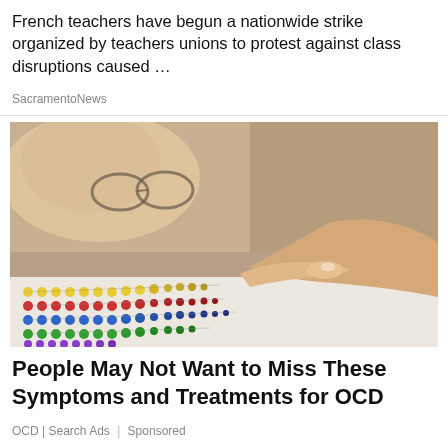French teachers have begun a nationwide strike organized by teachers unions to protest against class disruptions caused …
SacramentoNews
[Figure (photo): Close-up photo of a person with glasses pointing at rows of colorful beads on a surface, viewed from a low angle.]
People May Not Want to Miss These Symptoms and Treatments for OCD
OCD | Search Ads | Sponsored